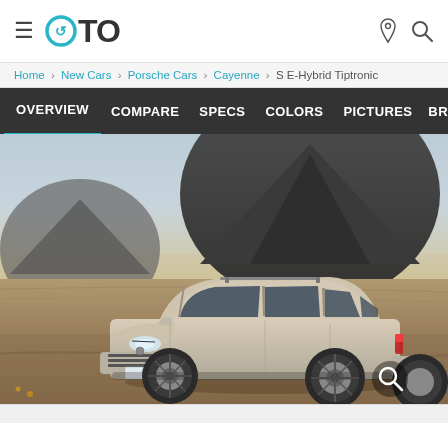OTO — hamburger menu, location icon, search icon
Home › New Cars › Porsche Cars › Cayenne › S E-Hybrid Tiptronic
OVERVIEW   COMPARE   SPECS   COLORS   PICTURES   BR
[Figure (photo): Porsche Cayenne S E-Hybrid Tiptronic SUV in silver/beige color driving on a dusty desert road with a large dark volcanic mountain in the background. A search/magnify icon is visible in the lower-right corner of the image.]